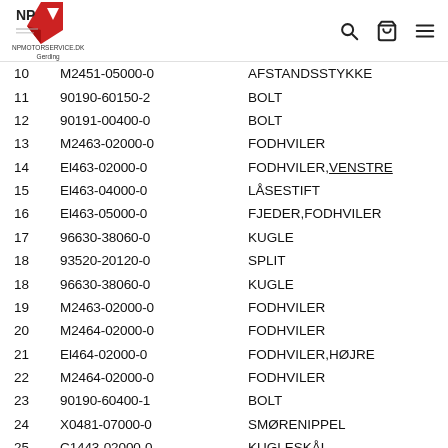NPMOTORSERVICE.DK Gerding
| Nr | Part No | Description |
| --- | --- | --- |
| 10 | M2451-05000-0 | AFSTANDSSTYKKE |
| 11 | 90190-60150-2 | BOLT |
| 12 | 90191-00400-0 | BOLT |
| 13 | M2463-02000-0 | FODHVILER |
| 14 | El463-02000-0 | FODHVILER,VENSTRE |
| 15 | El463-04000-0 | LÅSESTIFT |
| 16 | El463-05000-0 | FJEDER,FODHVILER |
| 17 | 96630-38060-0 | KUGLE |
| 18 | 93520-20120-0 | SPLIT |
| 18 | 96630-38060-0 | KUGLE |
| 19 | M2463-02000-0 | FODHVILER |
| 20 | M2464-02000-0 | FODHVILER |
| 21 | El464-02000-0 | FODHVILER,HØJRE |
| 22 | M2464-02000-0 | FODHVILER |
| 23 | 90190-60400-1 | BOLT |
| 24 | X0481-07000-0 | SMØRENIPPEL |
| 25 | C1443-02000-0 | KUGLESKÅL |
| 26 | C1443-01100-0 | KUGLESKÅL |
| 27 | 90191-41250-0 | BOLT |
| 28 | 92061-40000-0 | LÅSEMØTRIK |